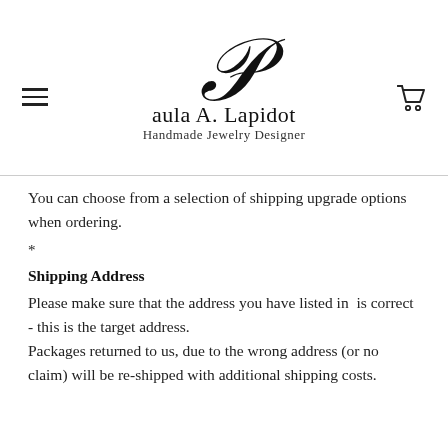Paula A. Lapidot – Handmade Jewelry Designer
You can choose from a selection of shipping upgrade options when ordering.
*
Shipping Address
Please make sure that the address you have listed in  is correct - this is the target address.
Packages returned to us, due to the wrong address (or no claim) will be re-shipped with additional shipping costs.